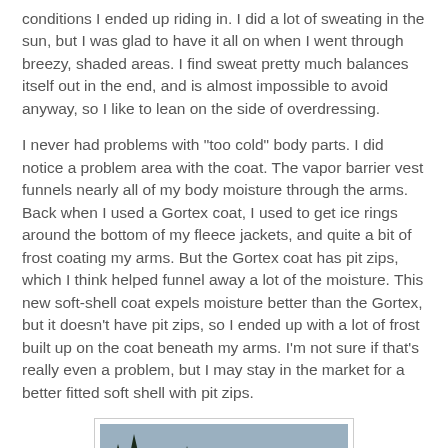conditions I ended up riding in. I did a lot of sweating in the sun, but I was glad to have it all on when I went through breezy, shaded areas. I find sweat pretty much balances itself out in the end, and is almost impossible to avoid anyway, so I like to lean on the side of overdressing.

I never had problems with "too cold" body parts. I did notice a problem area with the coat. The vapor barrier vest funnels nearly all of my body moisture through the arms. Back when I used a Gortex coat, I used to get ice rings around the bottom of my fleece jackets, and quite a bit of frost coating my arms. But the Gortex coat has pit zips, which I think helped funnel away a lot of the moisture. This new soft-shell coat expels moisture better than the Gortex, but it doesn't have pit zips, so I ended up with a lot of frost built up on the coat beneath my arms. I'm not sure if that's really even a problem, but I may stay in the market for a better fitted soft shell with pit zips.
[Figure (photo): A photo showing trees (dark silhouettes of conifers) against a blue-grey sky with what appears to be a sunset or sunrise with an orange/pink glow near the horizon.]